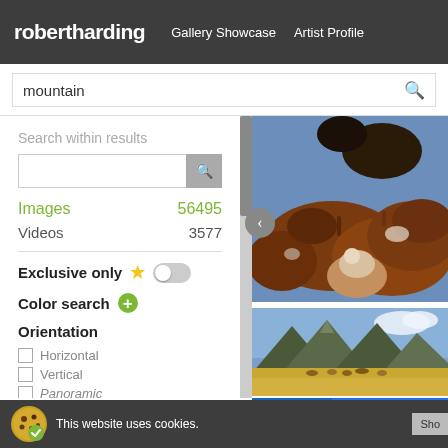robertharding | Gallery Showcase | Artist Profile
mountain (search input)
Search within results
Images 56495
Videos 3577
Exclusive only
Color search
Orientation
Horizontal
Vertical
Panoramic
[Figure (photo): Herd of brown cattle with a rider on horseback in the background]
[Figure (photo): Mountain landscape with horses grazing on golden plains]
[Figure (photo): Partial view of a blue image at the bottom]
This website uses cookies. | Sho